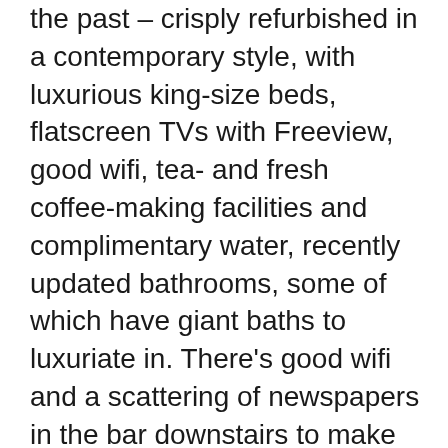the past – crisply refurbished in a contemporary style, with luxurious king-size beds, flatscreen TVs with Freeview, good wifi, tea- and fresh coffee-making facilities and complimentary water, recently updated bathrooms, some of which have giant baths to luxuriate in. There's good wifi and a scattering of newspapers in the bar downstairs to make you feel at home, and overall the feel is both cosy and comfortable, but with the sort of service and facilities you expect from a decent hotel.
The pub itself is furnished in a traditional style, with a roaring fire in winter and a pleasant beer garden to enjoy in summer. The food is excellent – a short and fairly traditional menu but with innovative touches and really good cooking; there's plenty for vegetarians and their Sunday roasts are superb. Like all good pubs, the Lamb is also dog-friendly, with dogs welcome throughout the pub and in all rooms.